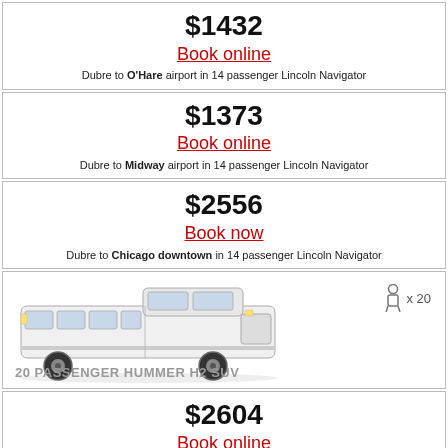$1432
Book online
Dubre to O'Hare airport in 14 passenger Lincoln Navigator
$1373
Book online
Dubre to Midway airport in 14 passenger Lincoln Navigator
$2556
Book now
Dubre to Chicago downtown in 14 passenger Lincoln Navigator
[Figure (photo): White stretch Hummer H2 SUV limousine, 20 passenger capacity badge top right]
$2604
Book online
Dubre to O'Hare airport in 20 Passenger Hummer H2 SUV
$2496
Book online